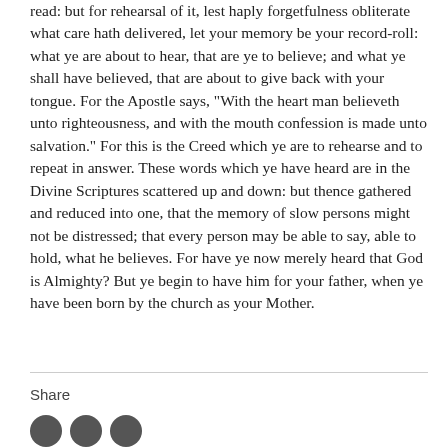read: but for rehearsal of it, lest haply forgetfulness obliterate what care hath delivered, let your memory be your record-roll: what ye are about to hear, that are ye to believe; and what ye shall have believed, that are about to give back with your tongue. For the Apostle says, "With the heart man believeth unto righteousness, and with the mouth confession is made unto salvation." For this is the Creed which ye are to rehearse and to repeat in answer. These words which ye have heard are in the Divine Scriptures scattered up and down: but thence gathered and reduced into one, that the memory of slow persons might not be distressed; that every person may be able to say, able to hold, what he believes. For have ye now merely heard that God is Almighty? But ye begin to have him for your father, when ye have been born by the church as your Mother.
Share